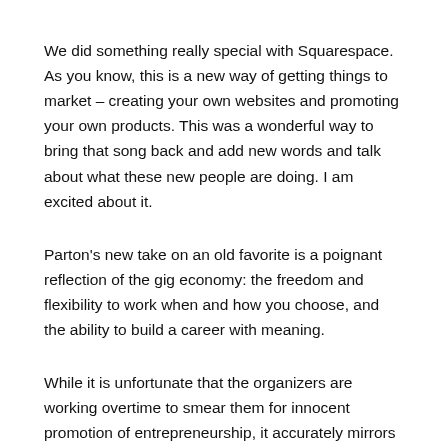We did something really special with Squarespace. As you know, this is a new way of getting things to market – creating your own websites and promoting your own products. This was a wonderful way to bring that song back and add new words and talk about what these new people are doing. I am excited about it.
Parton's new take on an old favorite is a poignant reflection of the gig economy: the freedom and flexibility to work when and how you choose, and the ability to build a career with meaning.
While it is unfortunate that the organizers are working overtime to smear them for innocent promotion of entrepreneurship, it accurately mirrors the bigger attack facing the American Dream.